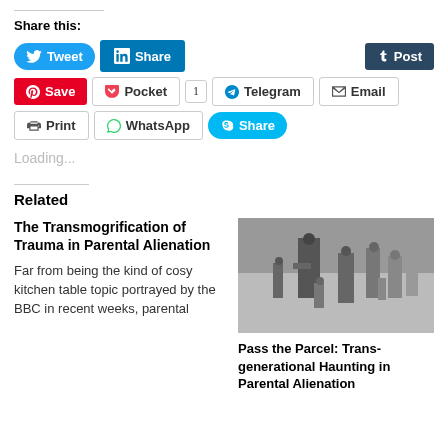Share this:
[Figure (screenshot): Social sharing buttons: Tweet, Share (LinkedIn), Post (Tumblr), Save (Pinterest), Pocket (with count 1), Telegram, Email, Print, WhatsApp, Share (Skype)]
Loading...
Related
The Transmogrification of Trauma in Parental Alienation
Far from being the kind of cosy kitchen table topic portrayed by the BBC in recent weeks, parental
[Figure (photo): Black and white photo of people walking on a street carrying boxes and bags]
Pass the Parcel: Trans-generational Haunting in Parental Alienation